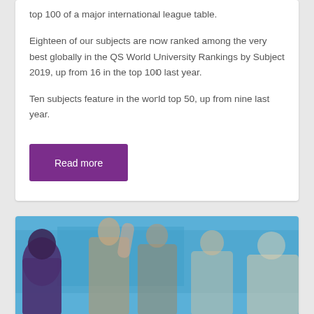top 100 of a major international league table.
Eighteen of our subjects are now ranked among the very best globally in the QS World University Rankings by Subject 2019, up from 16 in the top 100 last year.
Ten subjects feature in the world top 50, up from nine last year.
[Figure (photo): Photo of people at what appears to be a sporting or celebratory event, with a blue background. Multiple people visible from behind/side, some with raised arms.]